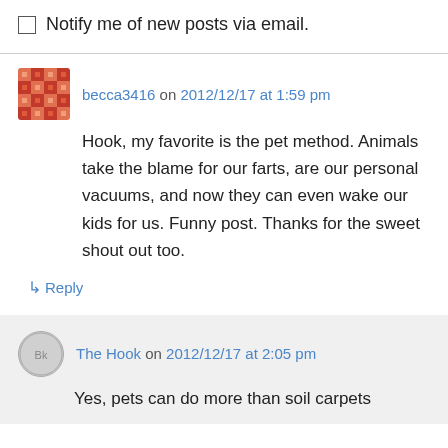Notify me of new posts via email.
becca3416 on 2012/12/17 at 1:59 pm
Hook, my favorite is the pet method. Animals take the blame for our farts, are our personal vacuums, and now they can even wake our kids for us. Funny post. Thanks for the sweet shout out too.
↳ Reply
The Hook on 2012/12/17 at 2:05 pm
Yes, pets can do more than soil carpets